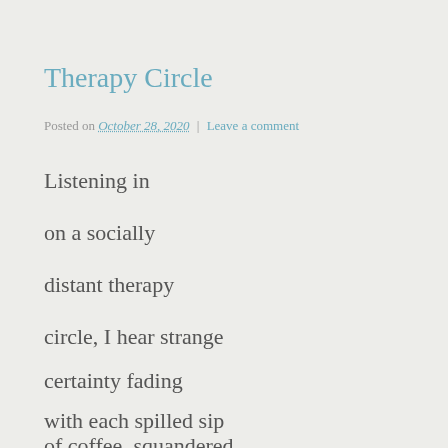Therapy Circle
Posted on October 28, 2020 | Leave a comment
Listening in
on a socially
distant therapy
circle, I hear strange
certainty fading
with each spilled sip
of coffee, squandered